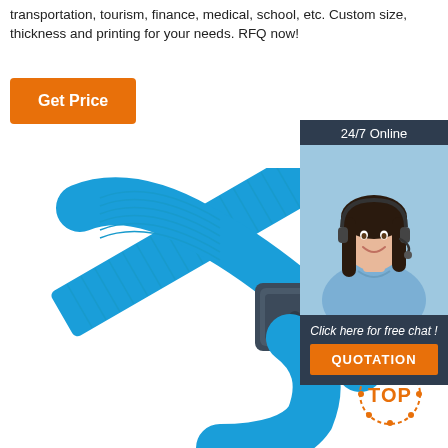transportation, tourism, finance, medical, school, etc. Custom size, thickness and printing for your needs. RFQ now!
[Figure (other): Orange 'Get Price' button]
[Figure (other): Chat widget with '24/7 Online' header, customer service agent photo, 'Click here for free chat!' text, and orange 'QUOTATION' button]
[Figure (photo): Blue RFID wristband with dark plastic clasp/buckle, shown on white background. Red/orange dotted 'TOP' badge in lower right corner.]